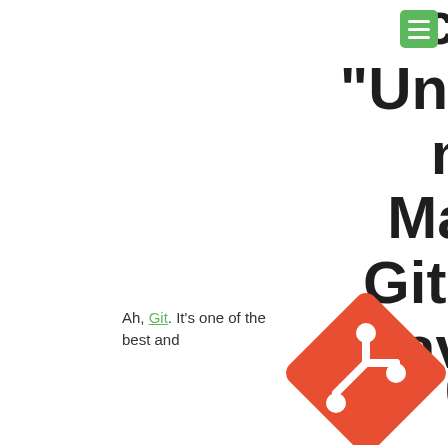course, “Understanding and Mastering Git,” is now available
Ah, Git. It’s one of the best and
[Figure (logo): Git logo: orange diamond shape with white branch icon and dark 'git' wordmark]